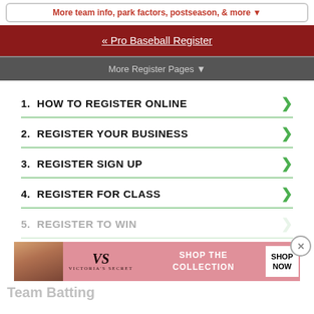More team info, park factors, postseason, & more ▼
« Pro Baseball Register
More Register Pages ▼
1.  HOW TO REGISTER ONLINE
2.  REGISTER YOUR BUSINESS
3.  REGISTER SIGN UP
4.  REGISTER FOR CLASS
5.  REGISTER TO WIN
[Figure (other): Victoria's Secret advertisement banner: SHOP THE COLLECTION - SHOP NOW button]
Team Batting